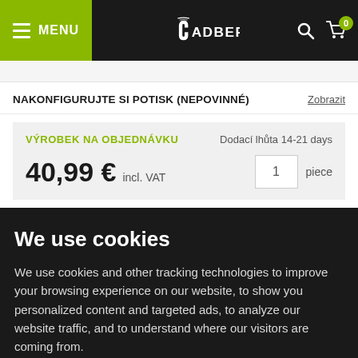[Figure (screenshot): Jadberg website header with menu button, logo, search and cart icons]
NAKONFIGURUJTE SI POTISK (NEPOVINNÉ)
Zobrazit
VÝROBEK NA OBJEDNÁVKU
Dodací lhůta 14-21 days
40,99 € incl. VAT
1 piece
We use cookies
We use cookies and other tracking technologies to improve your browsing experience on our website, to show you personalized content and targeted ads, to analyze our website traffic, and to understand where our visitors are coming from.